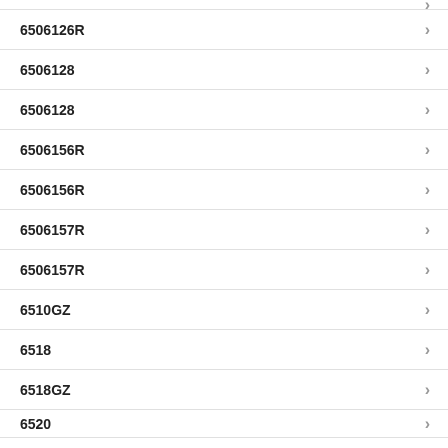6506126R
6506128
6506128
6506156R
6506156R
6506157R
6506157R
6510GZ
6518
6518GZ
6520